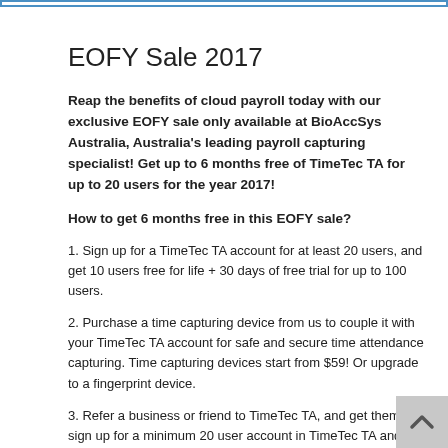EOFY Sale 2017
Reap the benefits of cloud payroll today with our exclusive EOFY sale only available at BioAccSys Australia, Australia's leading payroll capturing specialist! Get up to 6 months free of TimeTec TA for up to 20 users for the year 2017!
How to get 6 months free in this EOFY sale?
1. Sign up for a TimeTec TA account for at least 20 users, and get 10 users free for life + 30 days of free trial for up to 100 users.
2. Purchase a time capturing device from us to couple it with your TimeTec TA account for safe and secure time attendance capturing. Time capturing devices start from $59! Or upgrade to a fingerprint device.
3. Refer a business or friend to TimeTec TA, and get them to sign up for a minimum 20 user account in TimeTec TA and purchase a time capturing device to get 1 month free for yourself! Refer a total of 6 business, and get 6 months free in 2017 for every